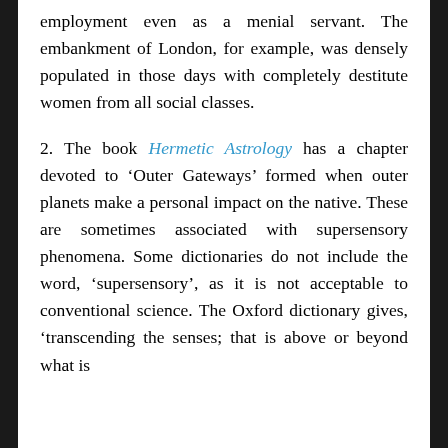employment even as a menial servant. The embankment of London, for example, was densely populated in those days with completely destitute women from all social classes.
2. The book Hermetic Astrology has a chapter devoted to ‘Outer Gateways’ formed when outer planets make a personal impact on the native. These are sometimes associated with supersensory phenomena. Some dictionaries do not include the word, ‘supersensory’, as it is not acceptable to conventional science. The Oxford dictionary gives, ‘transcending the senses; that is above or beyond what is